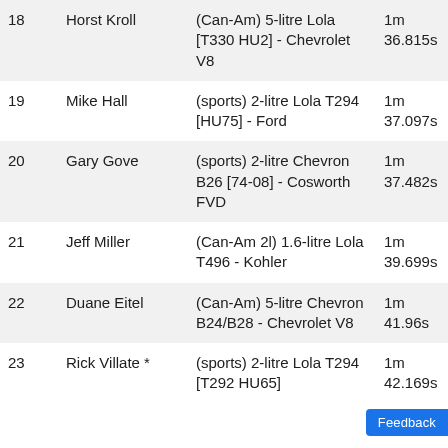| 18 | Horst Kroll | (Can-Am) 5-litre Lola [T330 HU2] - Chevrolet V8 | 1m 36.815s |
| 19 | Mike Hall | (sports) 2-litre Lola T294 [HU75] - Ford | 1m 37.097s |
| 20 | Gary Gove | (sports) 2-litre Chevron B26 [74-08] - Cosworth FVD | 1m 37.482s |
| 21 | Jeff Miller | (Can-Am 2l) 1.6-litre Lola T496 - Kohler | 1m 39.699s |
| 22 | Duane Eitel | (Can-Am) 5-litre Chevron B24/B28 - Chevrolet V8 | 1m 41.96s |
| 23 | Rick Villate * | (sports) 2-litre Lola T294 [T292 HU65] | 1m 42.169s |